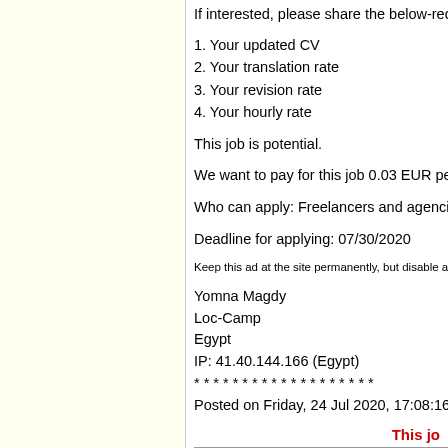If interested, please share the below-requ
1. Your updated CV
2. Your translation rate
3. Your revision rate
4. Your hourly rate
This job is potential.
We want to pay for this job 0.03 EUR per
Who can apply: Freelancers and agencie
Deadline for applying: 07/30/2020
Keep this ad at the site permanently, but disable appl
Yomna Magdy
Loc-Camp
Egypt
IP: 41.40.144.166 (Egypt)
* * * * * * * * * * * * * * * * * * *
Posted on Friday, 24 Jul 2020, 17:08:16
This jo
Looking for an English